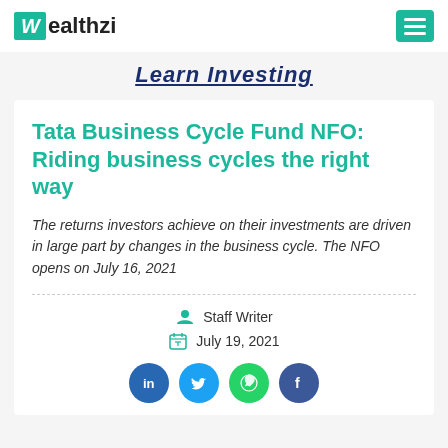Wealthzi
Learn Investing
Tata Business Cycle Fund NFO: Riding business cycles the right way
The returns investors achieve on their investments are driven in large part by changes in the business cycle. The NFO opens on July 16, 2021
Staff Writer
July 19, 2021